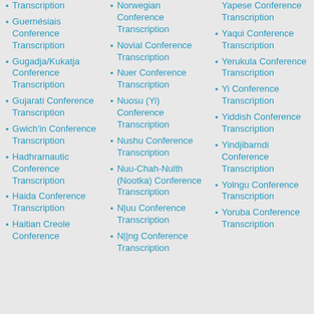Transcription
Guernésiais Conference Transcription
Gugadja/Kukatja Conference Transcription
Gujarati Conference Transcription
Gwich'in Conference Transcription
Hadhramautic Conference Transcription
Haida Conference Transcription
Haitian Creole Conference
Norwegian Conference Transcription
Novial Conference Transcription
Nuer Conference Transcription
Nuosu (Yi) Conference Transcription
Nushu Conference Transcription
Nuu-Chah-Nulth (Nootka) Conference Transcription
N|uu Conference Transcription
N||ng Conference Transcription
Yapese Conference Transcription
Yaqui Conference Transcription
Yerukula Conference Transcription
Yi Conference Transcription
Yiddish Conference Transcription
Yindjibarndi Conference Transcription
Yolngu Conference Transcription
Yoruba Conference Transcription